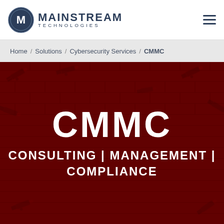[Figure (logo): Mainstream Technologies logo: circular icon with M letter on left, 'MAINSTREAM' bold large text and 'TECHNOLOGIES' smaller spaced text on right. Hamburger menu icon top-right.]
Home / Solutions / Cybersecurity Services / CMMC
[Figure (photo): Dark red brick wall background with multiple security surveillance cameras mounted at various angles, illuminated in red light.]
CMMC
CONSULTING | MANAGEMENT | COMPLIANCE